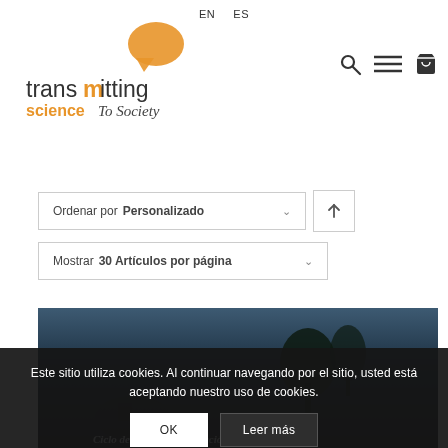EN  ES
[Figure (logo): Transmitting Science To Society logo with orange speech bubble icon and stylized text]
[Figure (infographic): Navigation icons: search (magnifying glass), hamburger menu, and shopping cart]
Ordenar por Personalizado
Mostrar 30 Artículos por página
[Figure (photo): Dark landscape photo at dusk with trees silhouetted against a blue-grey sky, partial view of an animal/zebra and italic text overlay reading 'Ciclo de talleres conservación de la...']
Este sitio utiliza cookies. Al continuar navegando por el sitio, usted está aceptando nuestro uso de cookies.
OK  Leer más